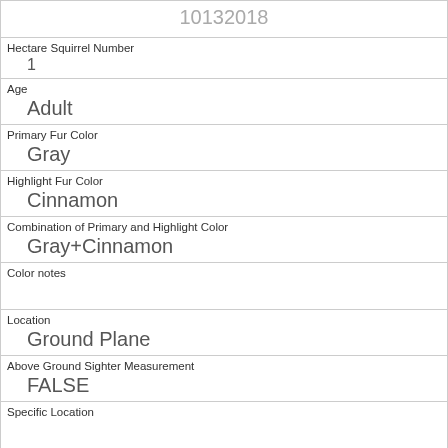| 10132018 |
| Hectare Squirrel Number | 1 |
| Age | Adult |
| Primary Fur Color | Gray |
| Highlight Fur Color | Cinnamon |
| Combination of Primary and Highlight Color | Gray+Cinnamon |
| Color notes |  |
| Location | Ground Plane |
| Above Ground Sighter Measurement | FALSE |
| Specific Location |  |
| Running | 1 |